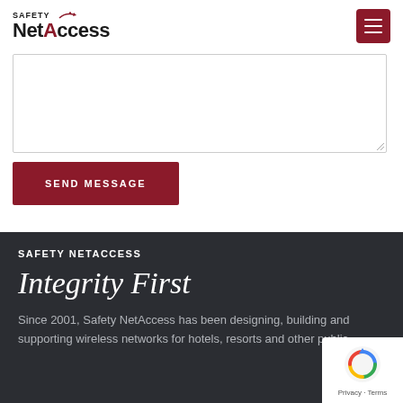Safety NetAccess
[Figure (other): Text area input box for message]
SEND MESSAGE
SAFETY NETACCESS
Integrity First
Since 2001, Safety NetAccess has been designing, building and supporting wireless networks for hotels, resorts and other public